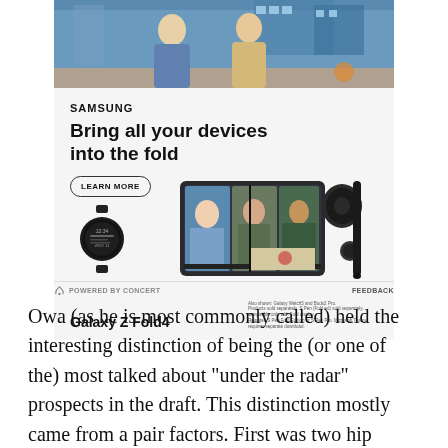[Figure (photo): Samsung Galaxy Z Fold4 advertisement showing two people in background photo, Samsung logo, headline 'Bring all your devices into the fold', Learn More button, smartwatch, foldable phone showing video call, earbuds, S Pen, Galaxy Z Fold4 branding]
G POWERED BY CONCERT   FEEDBACK
Owa (as he is most commonly called) held the interesting distinction of being the (or one of the) most talked about "under the radar" prospects in the draft. This distinction mostly came from a pair factors. First was two hip surgeries costing him his 2013 season